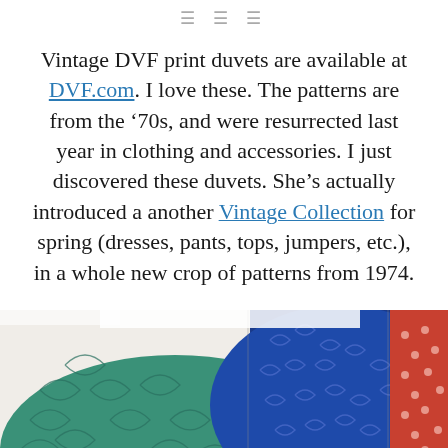≡ ≡ ≡
Vintage DVF print duvets are available at DVF.com. I love these. The patterns are from the '70s, and were resurrected last year in clothing and accessories. I just discovered these duvets. She's actually introduced a another Vintage Collection for spring (dresses, pants, tops, jumpers, etc.), in a whole new crop of patterns from 1974.
[Figure (photo): Three folded patterned duvets: green leaf print on left, blue swirl/scroll print in center, red/orange dot print on right]